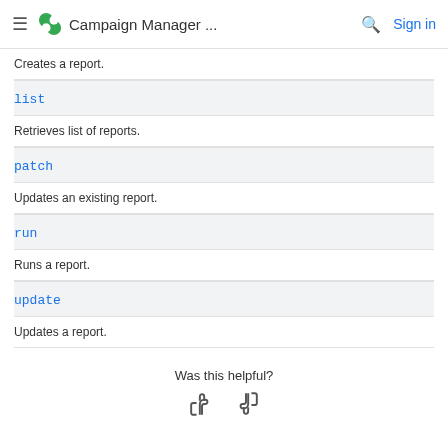Campaign Manager ...
Creates a report.
list
Retrieves list of reports.
patch
Updates an existing report.
run
Runs a report.
update
Updates a report.
Was this helpful?